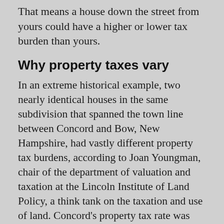That means a house down the street from yours could have a higher or lower tax burden than yours.
Why property taxes vary
In an extreme historical example, two nearly identical houses in the same subdivision that spanned the town line between Concord and Bow, New Hampshire, had vastly different property tax burdens, according to Joan Youngman, chair of the department of valuation and taxation at the Lincoln Institute of Land Policy, a think tank on the taxation and use of land. Concord’s property tax rate was about twice as much as Bow’s, even though both shared the same high school.
House hunting: Homes for sale: Here are the